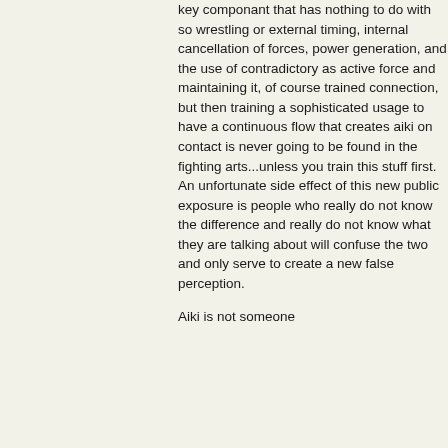key componant that has nothing to do with so wrestling or external timing, internal cancellation of forces, power generation, and the use of contradictory as active force and maintaining it, of course trained connection, but then training a sophisticated usage to have a continuous flow that creates aiki on contact is never going to be found in the fighting arts...unless you train this stuff first. An unfortunate side effect of this new public exposure is people who really do not know the difference and really do not know what they are talking about will confuse the two and only serve to create a new false perception.
Aiki is not someone